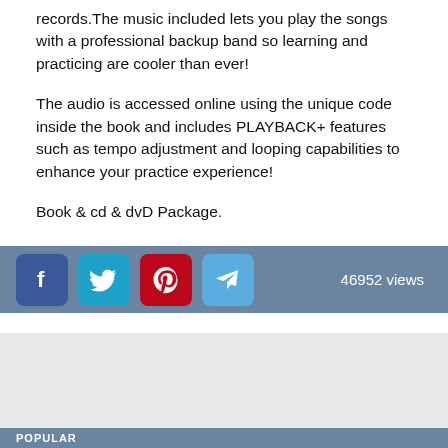records. The music included lets you play the songs with a professional backup band so learning and practicing are cooler than ever!
The audio is accessed online using the unique code inside the book and includes PLAYBACK+ features such as tempo adjustment and looping capabilities to enhance your practice experience!
Book & cd & dvD Package.
[Figure (infographic): Social media sharing bar with Facebook, Twitter, Pinterest, and Telegram icons, plus 46952 views count]
POPULAR